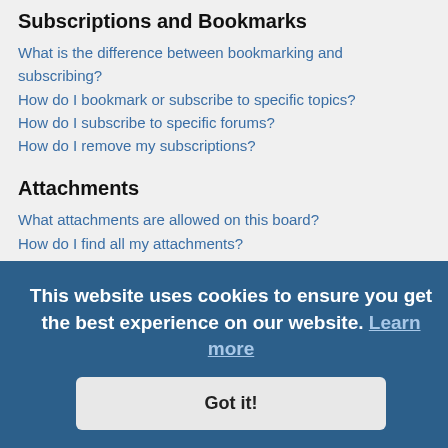Subscriptions and Bookmarks
What is the difference between bookmarking and subscribing?
How do I bookmark or subscribe to specific topics?
How do I subscribe to specific forums?
How do I remove my subscriptions?
Attachments
What attachments are allowed on this board?
How do I find all my attachments?
phpBB Issues
Who wrote this bulletin board?
Why isn't X feature available?
Who do I contact about abusive and/or legal matters related to this board?
How do I contact a board administrator?
Login and Registration Issues
Why do I need to register?
You may not have to, it is up to the administrator of the board as to
This website uses cookies to ensure you get the best experience on our website. Learn more
Got it!